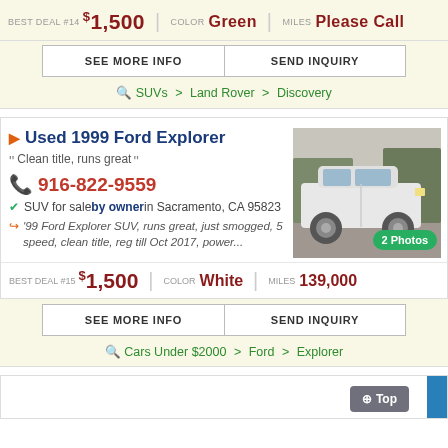BEST DEAL #14  $1,500  |  COLOR Green  |  MILES Please Call
SEE MORE INFO  |  SEND INQUIRY
SUVs > Land Rover > Discovery
Used 1999 Ford Explorer
Clean title, runs great
916-822-9559
SUV for sale by owner in Sacramento, CA 95823
'99 Ford Explorer SUV, runs great, just smogged, 5 speed, clean title, reg till Oct 2017, power...
[Figure (photo): White Ford Explorer SUV, side view, outdoor parking lot]
BEST DEAL #15  $1,500  |  COLOR White  |  MILES 139,000
SEE MORE INFO  |  SEND INQUIRY
Cars Under $2000 > Ford > Explorer